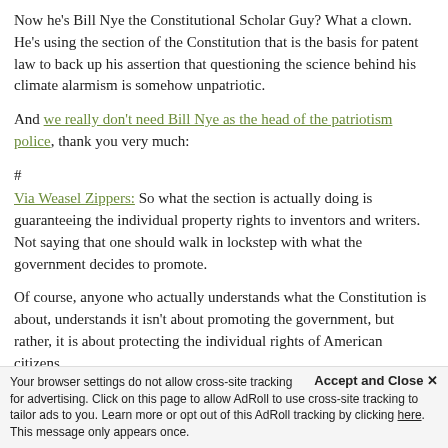Now he's Bill Nye the Constitutional Scholar Guy? What a clown. He's using the section of the Constitution that is the basis for patent law to back up his assertion that questioning the science behind his climate alarmism is somehow unpatriotic.
And we really don't need Bill Nye as the head of the patriotism police, thank you very much:
#
Via Weasel Zippers: So what the section is actually doing is guaranteeing the individual property rights to inventors and writers. Not saying that one should walk in lockstep with what the government decides to promote.
Of course, anyone who actually understands what the Constitution is about, understands it isn't about promoting the government, but rather, it is about protecting the individual rights of American citizens.
Perhaps Nye needs to spend a bit more Constitutional study and a little less time on selfies with another Congressman...
Accept and Close ✕  Your browser settings do not allow cross-site tracking for advertising. Click on this page to allow AdRoll to use cross-site tracking to tailor ads to you. Learn more or opt out of this AdRoll tracking by clicking here. This message only appears once.